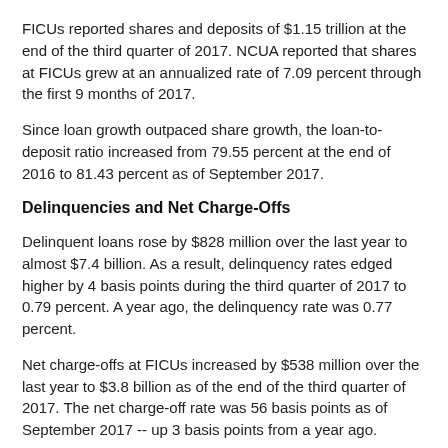FICUs reported shares and deposits of $1.15 trillion at the end of the third quarter of 2017. NCUA reported that shares at FICUs grew at an annualized rate of 7.09 percent through the first 9 months of 2017.
Since loan growth outpaced share growth, the loan-to-deposit ratio increased from 79.55 percent at the end of 2016 to 81.43 percent as of September 2017.
Delinquencies and Net Charge-Offs
Delinquent loans rose by $828 million over the last year to almost $7.4 billion. As a result, delinquency rates edged higher by 4 basis points during the third quarter of 2017 to 0.79 percent. A year ago, the delinquency rate was 0.77 percent.
Net charge-offs at FICUs increased by $538 million over the last year to $3.8 billion as of the end of the third quarter of 2017. The net charge-off rate was 56 basis points as of September 2017 -- up 3 basis points from a year ago.